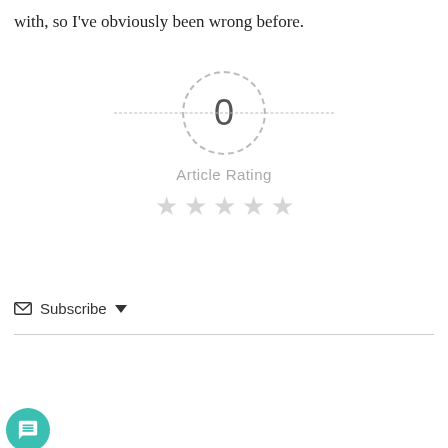with, so I've obviously been wrong before.
[Figure (other): Article rating widget showing '0' inside a dashed circle, 'Article Rating' label, and five empty/gray stars below]
Subscribe ▾
[Figure (screenshot): Comment text editor box with placeholder text 'Be the First to Comment!' and a formatting toolbar with B, I, U, S, list, quote, code, link, braces, and image buttons. A teal chat bubble icon is in the bottom-left corner.]